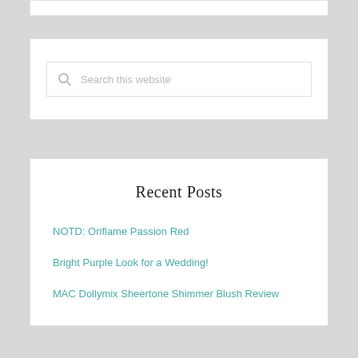[Figure (screenshot): Partial white box visible at top of page (cropped widget)]
[Figure (screenshot): Search widget with search icon and placeholder text 'Search this website']
Recent Posts
NOTD: Oriflame Passion Red
Bright Purple Look for a Wedding!
MAC Dollymix Sheertone Shimmer Blush Review